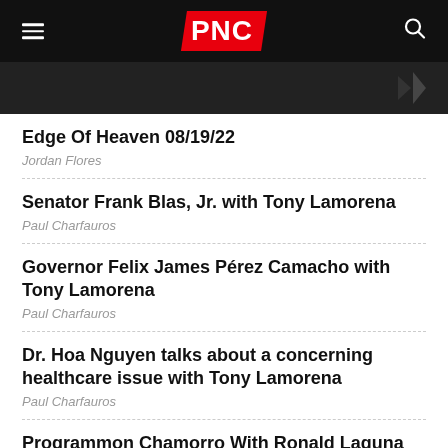PNC
[Figure (photo): Dark hero image with a partially visible graphic element on the right side]
Edge Of Heaven 08/19/22
Jordan Flores
Senator Frank Blas, Jr. with Tony Lamorena
Paul Charfauros
Governor Felix James Pérez Camacho with Tony Lamorena
Paul Charfauros
Dr. Hoa Nguyen talks about a concerning healthcare issue with Tony Lamorena
Paul Charfauros
Programmon Chamorro With Ronald Laguna